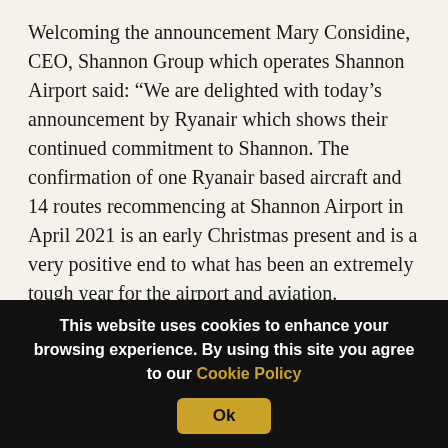Welcoming the announcement Mary Considine, CEO, Shannon Group which operates Shannon Airport said: “We are delighted with today’s announcement by Ryanair which shows their continued commitment to Shannon. The confirmation of one Ryanair based aircraft and 14 routes recommencing at Shannon Airport in April 2021 is an early Christmas present and is a very positive end to what has been an extremely tough year for the airport and aviation.
“Ryanair is a valued airline partner. They have operated at Shannon since 1987 and have had a
This website uses cookies to enhance your browsing experience. By using this site you agree to our Cookie Policy Ok